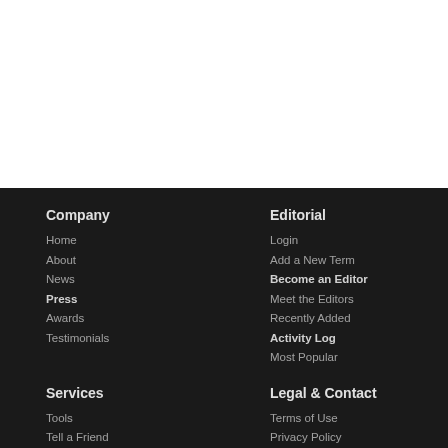Company
Home
About
News
Press
Awards
Testimonials
Editorial
Login
Add a New Term
Become an Editor
Meet the Editors
Recently Added
Activity Log
Most Popular
Services
Tools
Tell a Friend
Bookmark Us
APIs
Legal & Contact
Terms of Use
Privacy Policy
Contact Us
Advertise
The STANDS4 Network